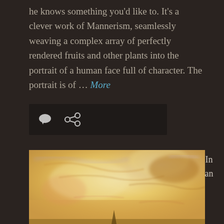he knows something you'd like to. It's a clever work of Mannerism, seamlessly weaving a complex array of perfectly rendered fruits and other plants into the portrait of a human face full of character. The portrait is of … More
[Figure (other): Icon bar with comment bubble icon and share/link icon on dark background]
[Figure (photo): A painting with warm golden-yellow and ochre hues with hints of lavender, impressionistic landscape style resembling a Turner painting with atmospheric sky and indistinct forms]
In an